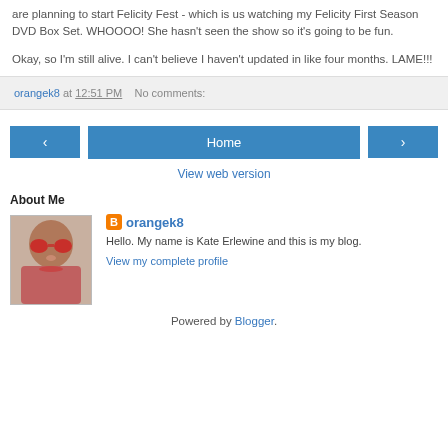are planning to start Felicity Fest - which is us watching my Felicity First Season DVD Box Set. WHOOOO! She hasn't seen the show so it's going to be fun.
Okay, so I'm still alive. I can't believe I haven't updated in like four months. LAME!!!
orangek8 at 12:51 PM   No comments:
[Figure (screenshot): Navigation buttons: left arrow, Home button, right arrow]
View web version
About Me
[Figure (photo): Profile photo of a woman with heart-shaped red sunglasses holding a dark drink]
orangek8
Hello. My name is Kate Erlewine and this is my blog.
View my complete profile
Powered by Blogger.